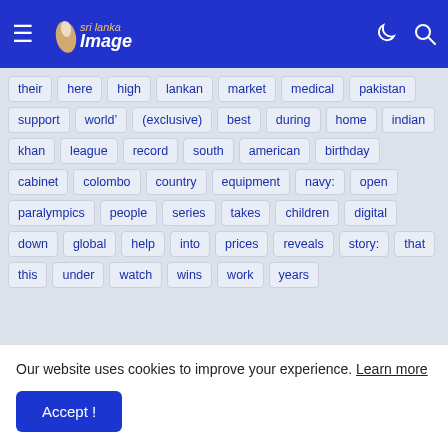Sri Lanka Image — navigation header with hamburger menu, logo, moon icon, search icon
[Figure (other): Tag cloud of keywords: their, here, high, lankan, market, medical, pakistan, support, world&#8217;, (exclusive), best, during, home, indian, khan, league, record, south, american, birthday, cabinet, colombo, country, equipment, navy:, open, paralympics, people, series, takes, children, digital, down, global, help, into, prices, reveals, story:, that, this, under, watch, wins, work, years]
Our website uses cookies to improve your experience. Learn more
Accept !